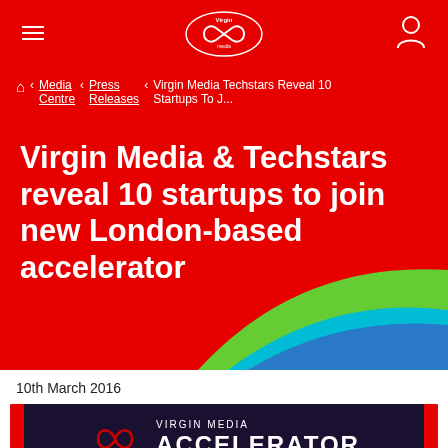Virgin Media (logo) — navigation header with hamburger menu and user icon
Home < Media Centre < Press Releases < Virgin Media Techstars Reveal 10 Startups To J...
Virgin Media & Techstars reveal 10 startups to join new London-based accelerator
[Figure (illustration): Decorative curved shapes in green, teal, and blue on red background]
10th March 2016
[Figure (logo): Virgin Media Accelerator banner with infinity loop logo on dark navy background with red side accents]